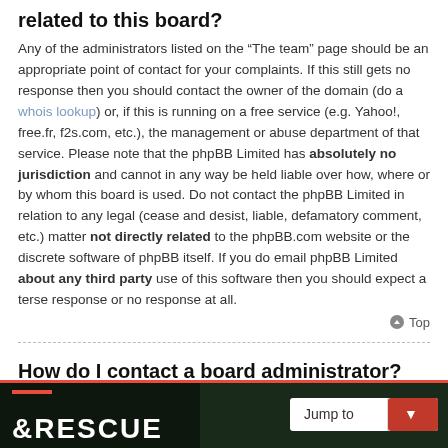related to this board?
Any of the administrators listed on the “The team” page should be an appropriate point of contact for your complaints. If this still gets no response then you should contact the owner of the domain (do a whois lookup) or, if this is running on a free service (e.g. Yahoo!, free.fr, f2s.com, etc.), the management or abuse department of that service. Please note that the phpBB Limited has absolutely no jurisdiction and cannot in any way be held liable over how, where or by whom this board is used. Do not contact the phpBB Limited in relation to any legal (cease and desist, liable, defamatory comment, etc.) matter not directly related to the phpBB.com website or the discrete software of phpBB itself. If you do email phpBB Limited about any third party use of this software then you should expect a terse response or no response at all.
How do I contact a board administrator?
All users of the board can use the “Contact us” form, if the option was enabled by the board administrator.
Members of the board can also use the “The team” link.
[Figure (other): Footer bar with red background showing partial RESCUE logo text and a 'Jump to' dropdown button]